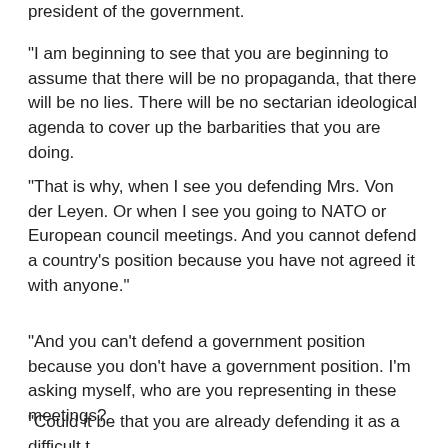president of the government.
“I am beginning to see that you are beginning to assume that there will be no propaganda, that there will be no lies. There will be no sectarian ideological agenda to cover up the barbarities that you are doing.
“That is why, when I see you defending Mrs. Von der Leyen. Or when I see you going to NATO or European council meetings. And you cannot defend a country’s position because you have not agreed it with anyone.”
“And you can’t defend a government position because you don’t have a government position. I’m asking myself, who are you representing in these meetings?
“Could it be that you are already defending it as a difficult t